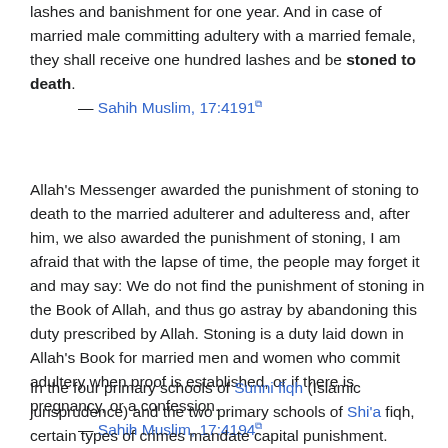lashes and banishment for one year. And in case of married male committing adultery with a married female, they shall receive one hundred lashes and be stoned to death.
— Sahih Muslim, 17:4191 [external link]
Allah's Messenger awarded the punishment of stoning to death to the married adulterer and adulteress and, after him, we also awarded the punishment of stoning, I am afraid that with the lapse of time, the people may forget it and may say: We do not find the punishment of stoning in the Book of Allah, and thus go astray by abandoning this duty prescribed by Allah. Stoning is a duty laid down in Allah's Book for married men and women who commit adultery when proof is established, or if there is pregnancy, or a confession.
— Sahih Muslim, 17:4194 [external link]
In the four primary schools of Sunni fiqh (Islamic jurisprudence) and the two primary schools of Shi'a fiqh, certain types of crimes mandate capital punishment. Certain hudud crimes, for example,